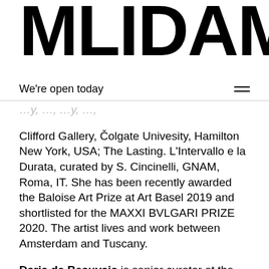MLIDAM
We're open today
Clifford Gallery, Čolgate Univesity, Hamilton New York, USA; The Lasting. L'Intervallo e la Durata, curated by S. Cincinelli, GNAM, Roma, IT. She has been recently awarded the Baloise Art Prize at Art Basel 2019 and shortlisted for the MAXXI BVLGARI PRIZE 2020. The artist lives and work between Amsterdam and Tuscany.
Daria de Beauvais is senior curator at the Palais de Tokyo (Paris), where she is co-curator of the collective exhibitions Antibodies (2020) and Future, Former, Fugitive (2019). With Palais de Tokyo's curatorial team she curated the 15th Lyon Biennale, Where Water Comes Together with Other Water (2019). Previously, her experience has